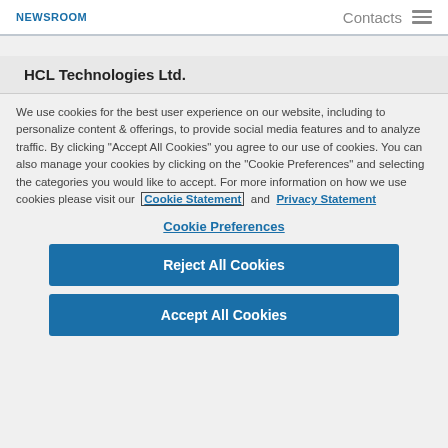NEWSROOM  Contacts ≡
HCL Technologies Ltd.
We use cookies for the best user experience on our website, including to personalize content & offerings, to provide social media features and to analyze traffic. By clicking "Accept All Cookies" you agree to our use of cookies. You can also manage your cookies by clicking on the "Cookie Preferences" and selecting the categories you would like to accept. For more information on how we use cookies please visit our Cookie Statement and Privacy Statement
Cookie Preferences
Reject All Cookies
Accept All Cookies